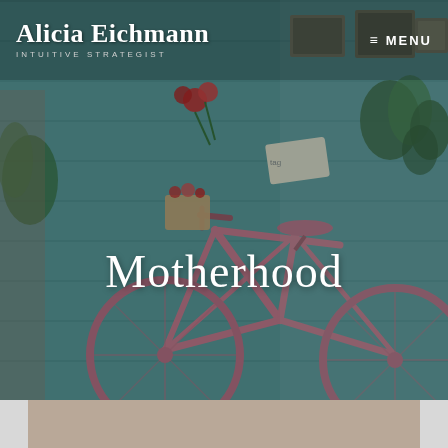Alicia Eichmann — INTUITIVE STRATEGIST | MENU
[Figure (photo): Hero background photo of a pink bicycle leaning against a teal wall with plants and foliage]
Motherhood
[Figure (photo): Photo of a laptop computer and coffee cup on an outdoor wooden table surrounded by pink flowers and green plants]